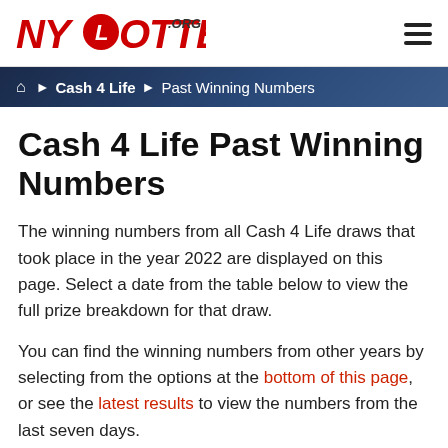NYLottery.org
Cash 4 Life Past Winning Numbers
The winning numbers from all Cash 4 Life draws that took place in the year 2022 are displayed on this page. Select a date from the table below to view the full prize breakdown for that draw.
You can find the winning numbers from other years by selecting from the options at the bottom of this page, or see the latest results to view the numbers from the last seven days.